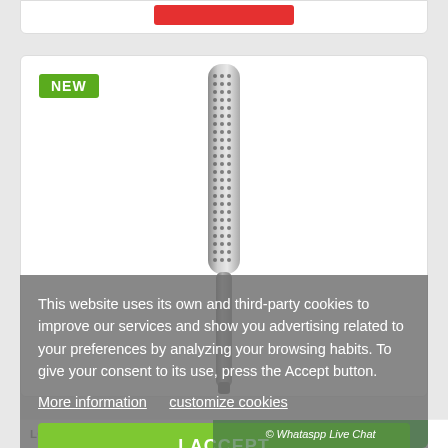[Figure (screenshot): Partial e-commerce product card from above with red button]
[Figure (photo): E-commerce product listing for Looftlighter Rapid Fire charcoal starter, showing a cylindrical perforated metal lighter device, with a green NEW badge in top-left corner]
This website uses its own and third-party cookies to improve our services and show you advertising related to your preferences by analyzing your browsing habits. To give your consent to its use, press the Accept button.
More information   customize cookies
I ACCEPT
LOOFTLIGHTER | RAPID FIRE CHARCOAL...
© Whataspp Live Chat